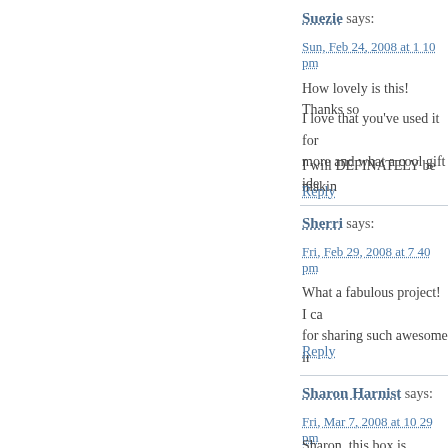Suezie says:
Sun, Feb 24, 2008 at 1 10 pm
How lovely is this! Thanks so
I love that you've used it for more and what a cool gift ide
I will DEFINATELY be makin
Reply
Sherri says:
Fri, Feb 29, 2008 at 7 40 pm
What a fabulous project! I ca for sharing such awesome ir
Reply
Sharon Harnist says:
Fri, Mar 7, 2008 at 10 29 pm
Sharon, this box is fabulous